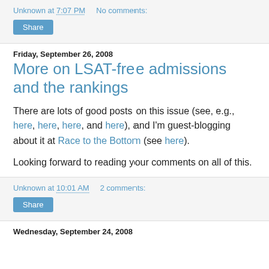Unknown at 7:07 PM   No comments:
Share
Friday, September 26, 2008
More on LSAT-free admissions and the rankings
There are lots of good posts on this issue (see, e.g., here, here, here, and here), and I'm guest-blogging about it at Race to the Bottom (see here).
Looking forward to reading your comments on all of this.
Unknown at 10:01 AM   2 comments:
Share
Wednesday, September 24, 2008